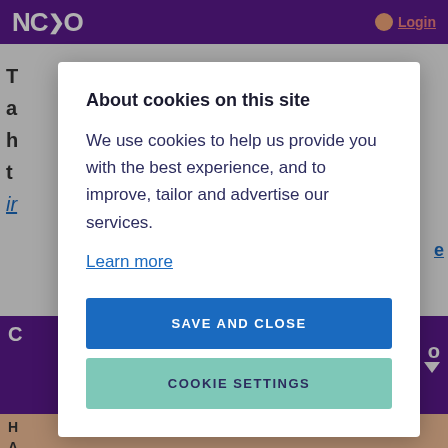[Figure (screenshot): NCVO website header with purple background showing NCVO logo in white and a Login link in pink/red with user icon on the right.]
[Figure (screenshot): Background website content partially visible behind modal overlay, including partial text lines and a purple banner section and peach-colored bottom area.]
About cookies on this site
We use cookies to help us provide you with the best experience, and to improve, tailor and advertise our services.
Learn more
SAVE AND CLOSE
COOKIE SETTINGS